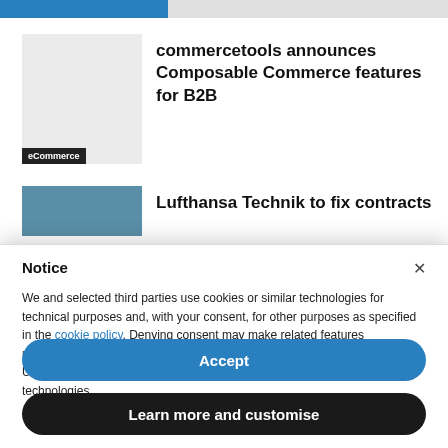[Figure (screenshot): Top browser progress bar, partially filled in blue]
commercetools announces Composable Commerce features for B2B
[Figure (photo): Partially visible article thumbnail with blue-grey image and article title: Lufthansa Technik to fix contracts with]
Notice
We and selected third parties use cookies or similar technologies for technical purposes and, with your consent, for other purposes as specified in the cookie policy. Denying consent may make related features unavailable.
Use the “Accept” button or close this notice to consent to the use of such technologies.
Accept
Learn more and customise